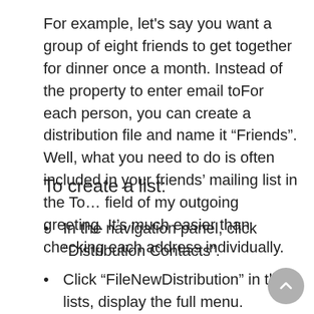For example, let's say you want a group of eight friends to get together for dinner once a month. Instead of the property to enter email toFor each person, you can create a distribution file and name it “Friends”. Well, what you need to do is often included in your friends’ mailing list in the To… field of my outgoing greeting. It’s much easier than checking each address individually.
To create a list:
In the navigation panel, click “Distribution Contacts”.
Click “FileNewDistribution” in the lists, display the full menu.